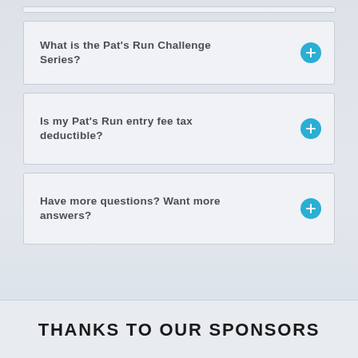What is the Pat's Run Challenge Series?
Is my Pat's Run entry fee tax deductible?
Have more questions? Want more answers?
THANKS TO OUR SPONSORS